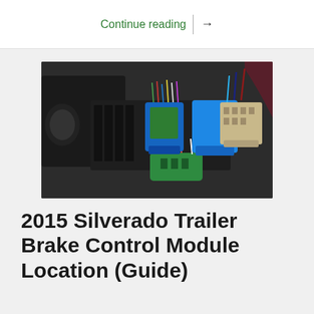Continue reading →
[Figure (photo): Close-up photo of automotive wiring harness connectors inside a vehicle, showing blue, green, and beige plastic electrical connectors with multi-colored wires, mounted in a black plastic housing — illustrating the trailer brake control module location in a 2015 Silverado.]
2015 Silverado Trailer Brake Control Module Location (Guide)